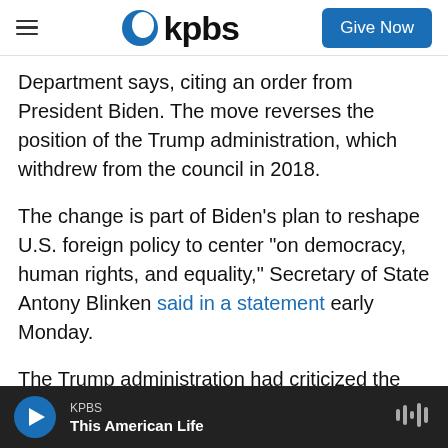KPBS — Give Now
Department says, citing an order from President Biden. The move reverses the position of the Trump administration, which withdrew from the council in 2018.
The change is part of Biden's plan to reshape U.S. foreign policy to center "on democracy, human rights, and equality," Secretary of State Antony Blinken said in a statement early Monday.
The Trump administration had criticized the U.N. council on two fronts. It said the group had lost credibility by including nations with deplorable
KPBS — This American Life